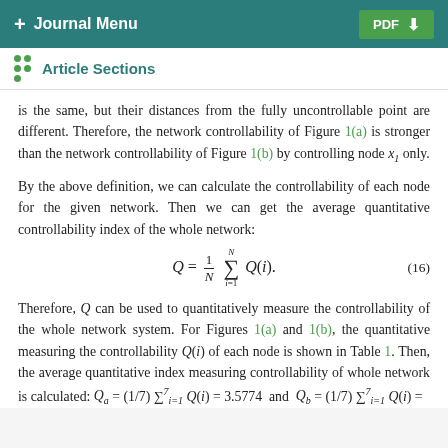+ Journal Menu  PDF ↓
Article Sections
is the same, but their distances from the fully uncontrollable point are different. Therefore, the network controllability of Figure 1(a) is stronger than the network controllability of Figure 1(b) by controlling node x₁ only.
By the above definition, we can calculate the controllability of each node for the given network. Then we can get the average quantitative controllability index of the whole network:
Therefore, Q can be used to quantitatively measure the controllability of the whole network system. For Figures 1(a) and 1(b), the quantitative measuring the controllability Q(i) of each node is shown in Table 1. Then, the average quantitative index measuring controllability of whole network is calculated: Q_a = (1/7) Σ^7_{i=1} Q(i) = 3.5774 and Q_b = (1/7) Σ^7_{i=1} Q(i) =